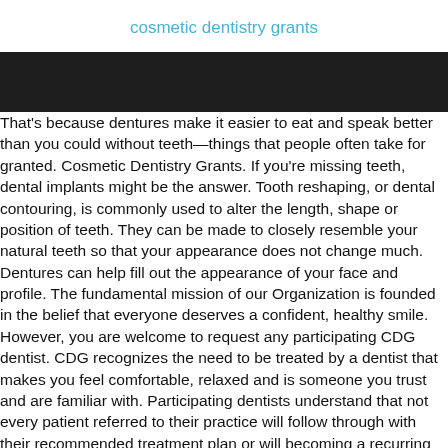cosmetic dentistry grants
[Figure (other): Dark black/near-black rectangular banner spanning full page width]
That's because dentures make it easier to eat and speak better than you could without teeth—things that people often take for granted. Cosmetic Dentistry Grants. If you're missing teeth, dental implants might be the answer. Tooth reshaping, or dental contouring, is commonly used to alter the length, shape or position of teeth. They can be made to closely resemble your natural teeth so that your appearance does not change much. Dentures can help fill out the appearance of your face and profile. The fundamental mission of our Organization is founded in the belief that everyone deserves a confident, healthy smile. However, you are welcome to request any participating CDG dentist. CDG recognizes the need to be treated by a dentist that makes you feel comfortable, relaxed and is someone you trust and are familiar with. Participating dentists understand that not every patient referred to their practice will follow through with their recommended treatment plan or will becoming a recurring